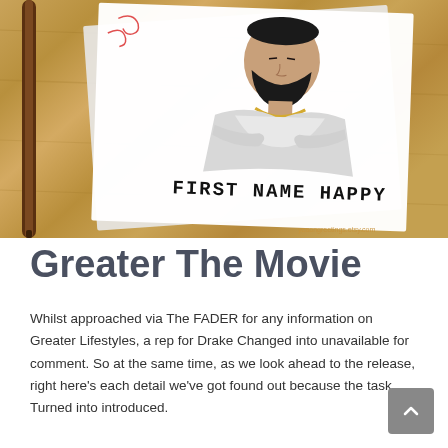[Figure (photo): Photo of a greeting card on a wooden table. The card features an illustration of Drake (bearded man in white shirt with gold chain) and text reading 'FIRST NAME HAPPY'. A pen is visible on the left. Watermark reads 'yeaongreetings.etsy.com'.]
Greater The Movie
Whilst approached via The FADER for any information on Greater Lifestyles, a rep for Drake Changed into unavailable for comment. So at the same time, as we look ahead to the release, right here's each detail we've got found out because the task Turned into introduced.